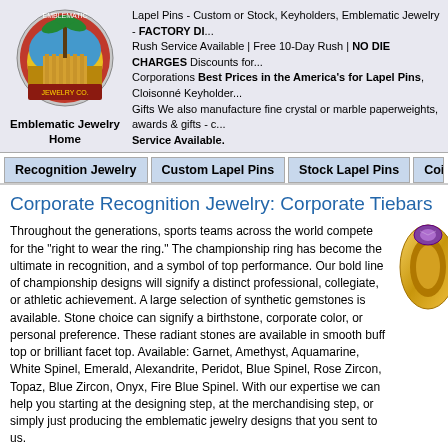Lapel Pins - Custom or Stock, Keyholders, Emblematic Jewelry - FACTORY DI... Rush Service Available | Free 10-Day Rush | NO DIE CHARGES Discounts for... Corporations Best Prices in the America's for Lapel Pins, Cloisonné Keyholder... Gifts We also manufacture fine crystal or marble paperweights, awards & gifts - c... Service Available.
Emblematic Jewelry
Home
Recognition Jewelry | Custom Lapel Pins | Stock Lapel Pins | Coins / Me...
Corporate Recognition Jewelry: Corporate Tiebars
Throughout the generations, sports teams across the world compete for the "right to wear the ring." The championship ring has become the ultimate in recognition, and a symbol of top performance. Our bold line of championship designs will signify a distinct professional, collegiate, or athletic achievement. A large selection of synthetic gemstones is available. Stone choice can signify a birthstone, corporate color, or personal preference. These radiant stones are available in smooth buff top or brilliant facet top. Available: Garnet, Amethyst, Aquamarine, White Spinel, Emerald, Alexandrite, Peridot, Blue Spinel, Rose Zircon, Topaz, Blue Zircon, Onyx, Fire Blue Spinel. With our expertise we can help you starting at the designing step, at the merchandising step, or simply just producing the emblematic jewelry designs that you sent to us.
Call us today at 888-799-2001 - Request a quote or place an order
Click on the thumbnails to see larger pictures